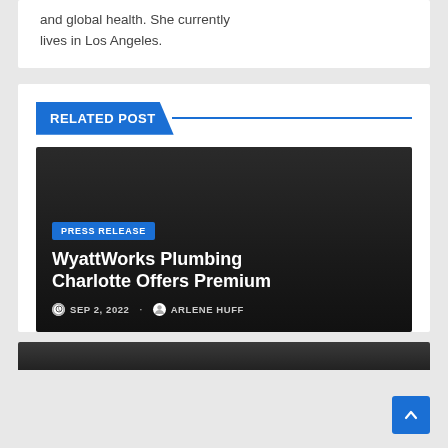and global health. She currently lives in Los Angeles.
RELATED POST
[Figure (other): Dark article card with PRESS RELEASE tag, title WyattWorks Plumbing Charlotte Offers Premium, dated SEP 2, 2022 by ARLENE HUFF]
PRESS RELEASE
WyattWorks Plumbing Charlotte Offers Premium
SEP 2, 2022   ARLENE HUFF